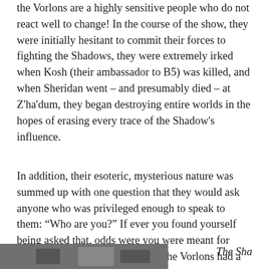the Vorlons are a highly sensitive people who do not react well to change! In the course of the show, they were initially hesitant to commit their forces to fighting the Shadows, they were extremely irked when Kosh (their ambassador to B5) was killed, and when Sheridan went – and presumably died – at Z'ha'dum, they began destroying entire worlds in the hopes of erasing every trace of the Shadow's influence.
In addition, their esoteric, mysterious nature was summed up with one question that they would ask anyone who was privileged enough to speak to them: “Who are you?” If ever you found yourself being asked that, odds were you were meant for some higher purpose, one which the Vorlons had a hand in arranging!
[Figure (photo): Partial image visible at the bottom of the page, cut off]